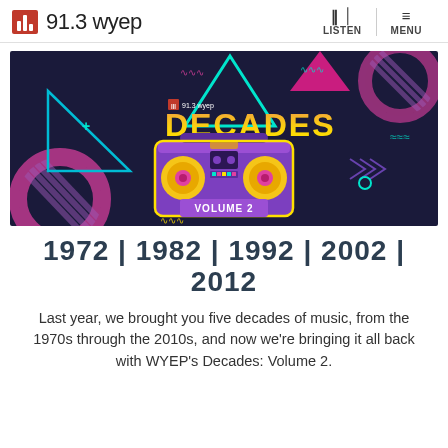91.3 WYEP | LISTEN | MENU
[Figure (illustration): Colorful retro-themed banner for '91.3 WYEP Decades Volume 2' showing a purple boombox with yellow speakers on a dark navy background with geometric shapes, triangles, circles, and squiggles in pink, teal, and yellow.]
1972 | 1982 | 1992 | 2002 | 2012
Last year, we brought you five decades of music, from the 1970s through the 2010s, and now we're bringing it all back with WYEP's Decades: Volume 2.